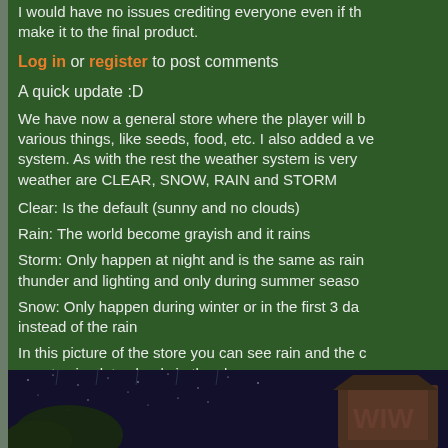I would have no issues crediting everyone even if they make it to the final product.
Log in or register to post comments
A quick update :D
We have now a general store where the player will b various things, like seeds, food, etc. I also added a ve system. As with the rest the weather system is very weather are CLEAR, SNOW, RAIN and STORM
Clear: Is the default (sunny and no clouds)
Rain: The world become grayish and it rains
Storm: Only happen at night and is the same as rain thunder and lighting and only during summer seaso
Snow: Only happen during winter or in the first 3 da instead of the rain
In this picture of the store you can see rain and the gray to simulate clouds in the sky
[Figure (screenshot): In-game screenshot showing a dark night scene with stars and a building/store structure visible]